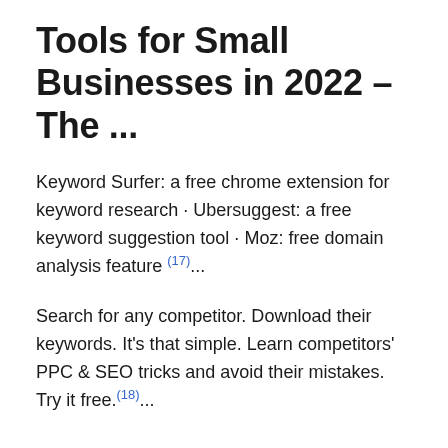Tools for Small Businesses in 2022 – The ...
Keyword Surfer: a free chrome extension for keyword research · Ubersuggest: a free keyword suggestion tool · Moz: free domain analysis feature (17)...
Search for any competitor. Download their keywords. It's that simple. Learn competitors' PPC & SEO tricks and avoid their mistakes. Try it free.(18)...